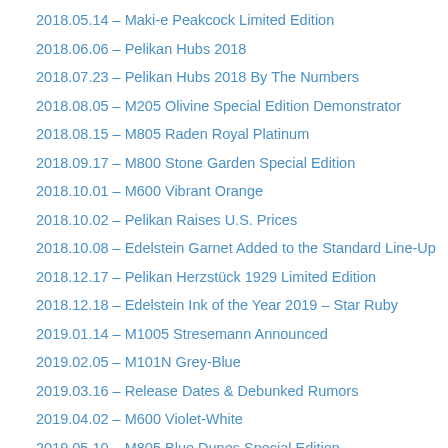2018.05.14 – Maki-e Peakcock Limited Edition
2018.06.06 – Pelikan Hubs 2018
2018.07.23 – Pelikan Hubs 2018 By The Numbers
2018.08.05 – M205 Olivine Special Edition Demonstrator
2018.08.15 – M805 Raden Royal Platinum
2018.09.17 – M800 Stone Garden Special Edition
2018.10.01 – M600 Vibrant Orange
2018.10.02 – Pelikan Raises U.S. Prices
2018.10.08 – Edelstein Garnet Added to the Standard Line-Up
2018.12.17 – Pelikan Herzstück 1929 Limited Edition
2018.12.18 – Edelstein Ink of the Year 2019 – Star Ruby
2019.01.14 – M1005 Stresemann Announced
2019.02.05 – M101N Grey-Blue
2019.03.16 – Release Dates & Debunked Rumors
2019.04.02 – M600 Violet-White
2019.05.10 – M805 Blue Dunes Special Edition
2019.05.26 – Maki-e Five Lucky Bats Limited Edition
2019.05.28 – Pelikan Hubs 2019
2019.06.02 – King Michael I of Romania – Royal Edition
2019.07.05 – Pelikan Hubs 2019 By The Numbers